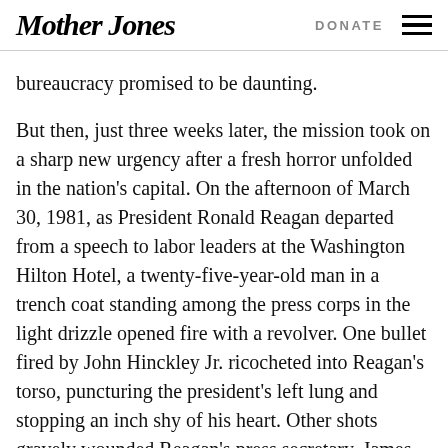Mother Jones  DONATE
bureaucracy promised to be daunting.
But then, just three weeks later, the mission took on a sharp new urgency after a fresh horror unfolded in the nation's capital. On the afternoon of March 30, 1981, as President Ronald Reagan departed from a speech to labor leaders at the Washington Hilton Hotel, a twenty-five-year-old man in a trench coat standing among the press corps in the light drizzle opened fire with a revolver. One bullet fired by John Hinckley Jr. ricocheted into Reagan's torso, puncturing the president's left lung and stopping an inch shy of his heart. Other shots gravely wounded Reagan's press secretary, James Brady, leaving him